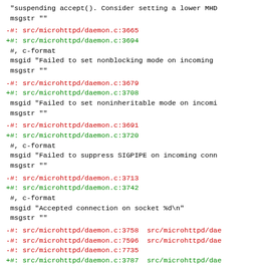"suspending accept(). Consider setting a lower MHD
 msgstr ""
-#: src/microhttpd/daemon.c:3665
+#: src/microhttpd/daemon.c:3694
 #, c-format
 msgid "Failed to set nonblocking mode on incoming
 msgstr ""
-#: src/microhttpd/daemon.c:3679
+#: src/microhttpd/daemon.c:3708
 msgid "Failed to set noninheritable mode on incomi
 msgstr ""
-#: src/microhttpd/daemon.c:3691
+#: src/microhttpd/daemon.c:3720
 #, c-format
 msgid "Failed to suppress SIGPIPE on incoming conn
 msgstr ""
-#: src/microhttpd/daemon.c:3713
+#: src/microhttpd/daemon.c:3742
 #, c-format
 msgid "Accepted connection on socket %d\n"
 msgstr ""
-#: src/microhttpd/daemon.c:3758  src/microhttpd/dae
-#: src/microhttpd/daemon.c:7596  src/microhttpd/dae
-#: src/microhttpd/daemon.c:7735
+#: src/microhttpd/daemon.c:3787  src/microhttpd/dae